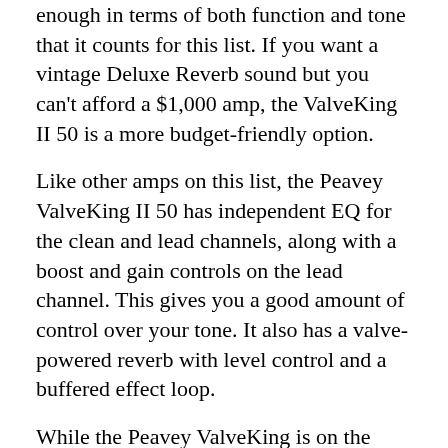enough in terms of both function and tone that it counts for this list. If you want a vintage Deluxe Reverb sound but you can't afford a $1,000 amp, the ValveKing II 50 is a more budget-friendly option.
Like other amps on this list, the Peavey ValveKing II 50 has independent EQ for the clean and lead channels, along with a boost and gain controls on the lead channel. This gives you a good amount of control over your tone. It also has a valve-powered reverb with level control and a buffered effect loop.
While the Peavey ValveKing is on the heavier side, it's convenient to use once you get it to the gig. The channels are foot-switchable and there's a direct recording output via USB for the studio. That's more options than you get from some amps that cost twice as much. The Peavey ValveKing is a great value for the